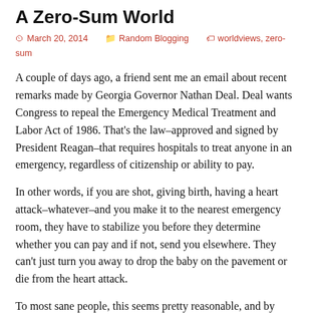A Zero-Sum World
March 20, 2014   Random Blogging   worldviews, zero-sum
A couple of days ago, a friend sent me an email about recent remarks made by Georgia Governor Nathan Deal. Deal wants Congress to repeal the Emergency Medical Treatment and Labor Act of 1986. That's the law–approved and signed by President Reagan–that requires hospitals to treat anyone in an emergency, regardless of citizenship or ability to pay.
In other words, if you are shot, giving birth, having a heart attack–whatever–and you make it to the nearest emergency room, they have to stabilize you before they determine whether you can pay and if not, send you elsewhere. They can't just turn you away to drop the baby on the pavement or die from the heart attack.
To most sane people, this seems pretty reasonable, and by